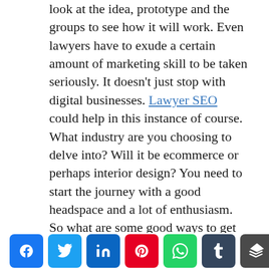look at the idea, prototype and the groups to see how it will work. Even lawyers have to exude a certain amount of marketing skill to be taken seriously. It doesn't just stop with digital businesses. Lawyer SEO could help in this instance of course. What industry are you choosing to delve into? Will it be ecommerce or perhaps interior design? You need to start the journey with a good headspace and a lot of enthusiasm. So what are some good ways to get started?
Good practices to carry out
1. Keep finances separate, on the one hand